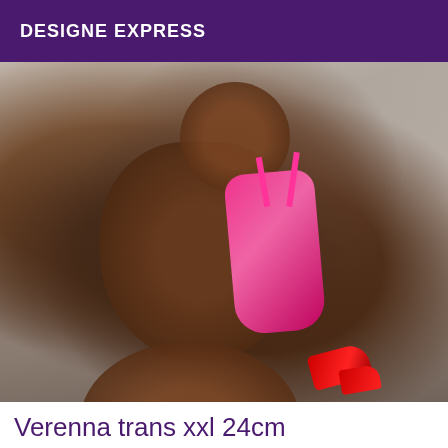DESIGNE EXPRESS
[Figure (photo): A person wearing pink bikini/lingerie photographed from behind, seated, with red high heels visible at bottom, against a light grey background.]
Verenna trans xxl 24cm